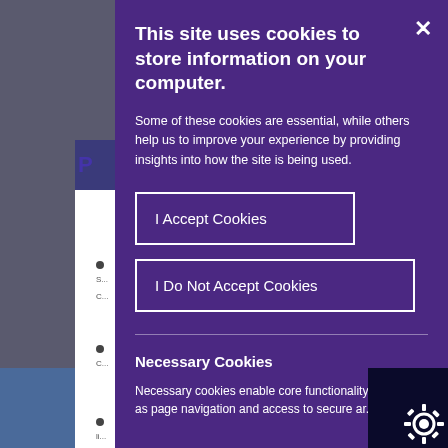[Figure (screenshot): Cookie consent modal dialog overlaying a webpage. The modal has a purple background (#4b2882) with white text and two buttons: 'I Accept Cookies' and 'I Do Not Accept Cookies'. A close (X) button appears in the top-right corner. Below a horizontal divider, a 'Necessary Cookies' section begins. The underlying page is partially visible on the left side showing bullet points, partial text, and a blue header area.]
This site uses cookies to store information on your computer.
Some of these cookies are essential, while others help us to improve your experience by providing insights into how the site is being used.
I Accept Cookies
I Do Not Accept Cookies
Necessary Cookies
Necessary cookies enable core functionality such as page navigation and access to secure ar